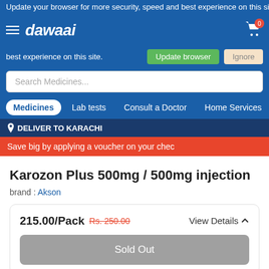Update your browser for more security, speed and best experience on this site.
[Figure (screenshot): Dawaai pharmacy website navigation bar with logo, hamburger menu, cart icon, search bar, navigation tabs (Medicines, Lab tests, Consult a Doctor, Home Services), delivery location bar showing DELIVER TO KARACHI, and a promotional red banner.]
Karozon Plus 500mg / 500mg injection
brand : Akson
215.00/Pack Rs. 250.00
View Details
Sold Out